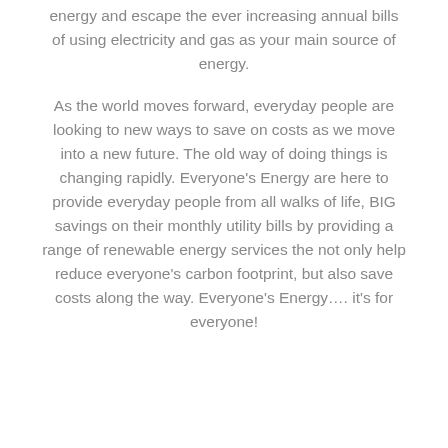energy and escape the ever increasing annual bills of using electricity and gas as your main source of energy.
As the world moves forward, everyday people are looking to new ways to save on costs as we move into a new future. The old way of doing things is changing rapidly. Everyone's Energy are here to provide everyday people from all walks of life, BIG savings on their monthly utility bills by providing a range of renewable energy services the not only help reduce everyone's carbon footprint, but also save costs along the way. Everyone's Energy…. it's for everyone!